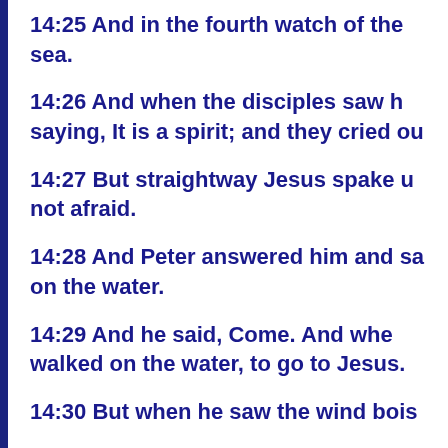14:25 And in the fourth watch of the sea.
14:26 And when the disciples saw h saying, It is a spirit; and they cried ou
14:27 But straightway Jesus spake u not afraid.
14:28 And Peter answered him and sa on the water.
14:29 And he said, Come. And whe walked on the water, to go to Jesus.
14:30 But when he saw the wind bois